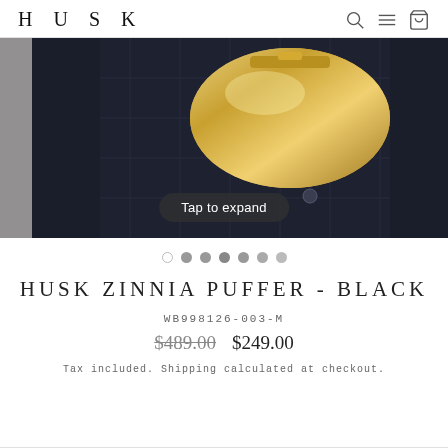HUSK
[Figure (photo): Close-up photo of a person wearing a dark navy/black quilted puffer jacket, holding a gold metallic bag. A 'Tap to expand' button overlay is visible.]
HUSK ZINNIA PUFFER - BLACK
WB998126-003-M
$489.00  $249.00
Tax included. Shipping calculated at checkout.